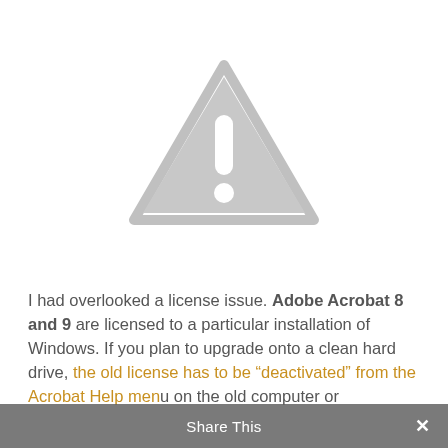[Figure (illustration): A large light-gray warning triangle icon with an exclamation mark (! symbol) inside, centered near the top of the page.]
I had overlooked a license issue. Adobe Acrobat 8 and 9 are licensed to a particular installation of Windows. If you plan to upgrade onto a clean hard drive, the old license has to be “deactivated” from the Acrobat Help menu on the old computer or the license expires when the new install is
Share This ×